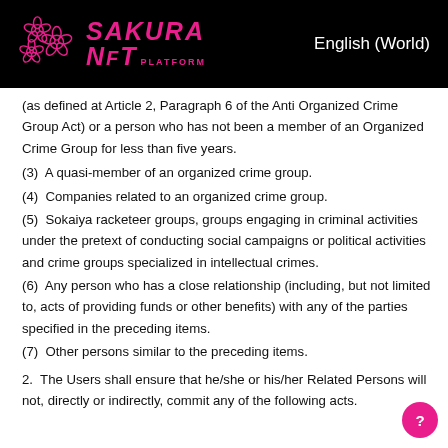SAKURA NFT PLATFORM | English (World)
(as defined at Article 2, Paragraph 6 of the Anti Organized Crime Group Act) or a person who has not been a member of an Organized Crime Group for less than five years.
(3)  A quasi-member of an organized crime group.
(4)  Companies related to an organized crime group.
(5)  Sokaiya racketeer groups, groups engaging in criminal activities under the pretext of conducting social campaigns or political activities and crime groups specialized in intellectual crimes.
(6)  Any person who has a close relationship (including, but not limited to, acts of providing funds or other benefits) with any of the parties specified in the preceding items.
(7)  Other persons similar to the preceding items.
2.  The Users shall ensure that he/she or his/her Related Persons will not, directly or indirectly, commit any of the following acts.